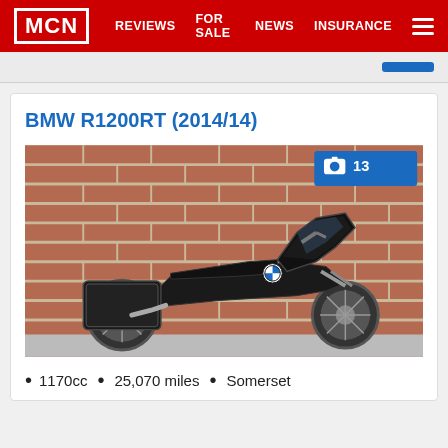MCN   REVIEWS   FOR SALE   NEWS   INSURANCE
BMW R1200RT (2014/14)
[Figure (photo): Black BMW R1200RT motorcycle parked in front of a red brick wall, side profile view, with panniers fitted. Photo count badge showing 13 photos.]
1170cc   •   25,070 miles   •   Somerset